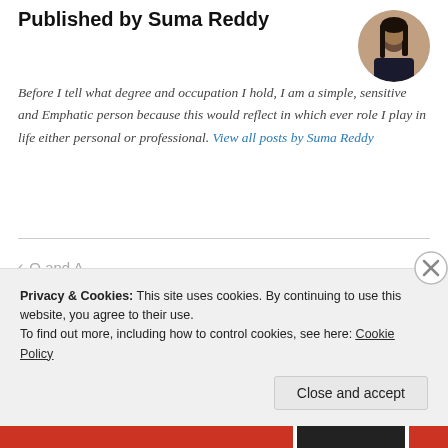Published by Suma Reddy
Before I tell what degree and occupation I hold, I am a simple, sensitive and Emphatic person because this would reflect in which ever role I play in life either personal or professional. View all posts by Suma Reddy
[Figure (photo): Circular avatar photo of Suma Reddy]
< Q and A
Miss You! >
Privacy & Cookies: This site uses cookies. By continuing to use this website, you agree to their use.
To find out more, including how to control cookies, see here: Cookie Policy
Close and accept